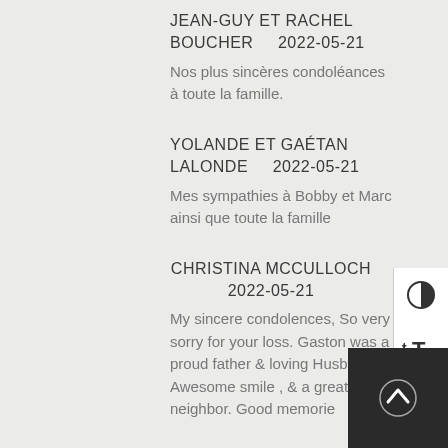JEAN-GUY ET RACHEL BOUCHER    2022-05-21
Nos plus sincères condoléances à toute la famille.
YOLANDE ET GAÉTAN LALONDE    2022-05-21
Mes sympathies à Bobby et Marc ainsi que toute la famille
CHRISTINA MCCULLOCH     2022-05-21
My sincere condolences, So very sorry for your loss. Gaston was a proud father & loving Husband. Awesome smile , & a great neighbor. Good memorie...